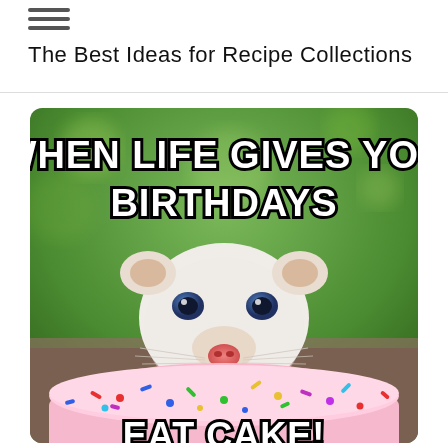≡
The Best Ideas for Recipe Collections
[Figure (photo): Meme image of a white rat/mouse smiling in front of a pink frosted cake with colorful sprinkles. Text overlay reads: 'WHEN LIFE GIVES YOU BIRTHDAYS' at top and 'EAT CAKE!' partially visible at bottom.]